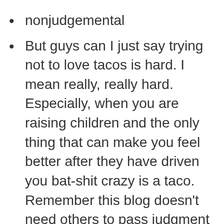nonjudgemental
But guys can I just say trying not to love tacos is hard. I mean really, really hard. Especially, when you are raising children and the only thing that can make you feel better after they have driven you bat-shit crazy is a taco. Remember this blog doesn’t need others to pass judgment – see line above on you are what you love.
Also, Chai Lattes will not let me break up with them. So I think I am going to have to love running again and that is also really, really hard because my couch loves me so